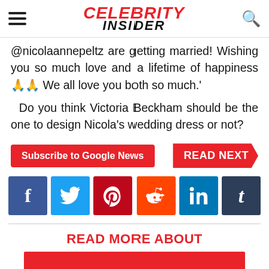Celebrity Insider
@nicolaannepeltz are getting married! Wishing you so much love and a lifetime of happiness 🙏🙏 We all love you both so much.'
Do you think Victoria Beckham should be the one to design Nicola's wedding dress or not?
Subscribe to Google News | READ NEXT
[Figure (infographic): Social media share buttons: Facebook, Twitter, Pinterest, Reddit, LinkedIn, Tumblr]
READ MORE ABOUT